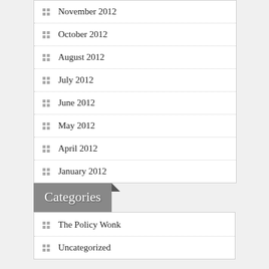November 2012
October 2012
August 2012
July 2012
June 2012
May 2012
April 2012
January 2012
Categories
The Policy Wonk
Uncategorized